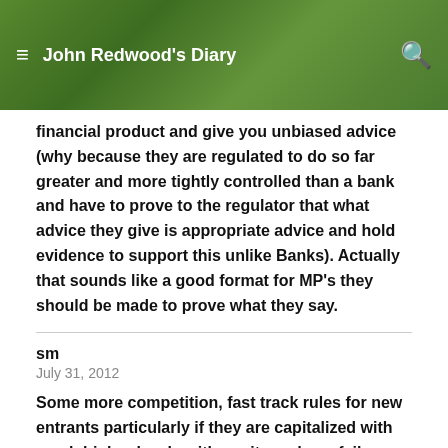John Redwood's Diary
financial product and give you unbiased advice (why because they are regulated to do so far greater and more tightly controlled than a bank and have to prove to the regulator that what advice they give is appropriate advice and hold evidence to support this unlike Banks). Actually that sounds like a good format for MP's they should be made to prove what they say.
sm
July 31, 2012
Some more competition, fast track rules for new entrants particularly if they are capitalized with much higher levels with equity and can fail safely.